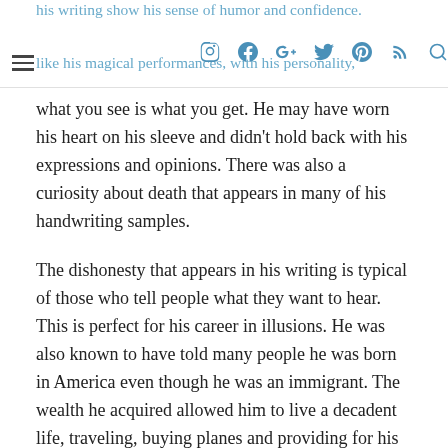his writing show his sense of humor and confidence. Like his magical performances, with his personality, what you see is what you get.
what you see is what you get. He may have worn his heart on his sleeve and didn’t hold back with his expressions and opinions. There was also a curiosity about death that appears in many of his handwriting samples.
The dishonesty that appears in his writing is typical of those who tell people what they want to hear. This is perfect for his career in illusions. He was also known to have told many people he was born in America even though he was an immigrant. The wealth he acquired allowed him to live a decadent life, traveling, buying planes and providing for his wife.